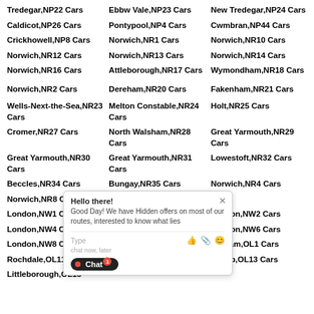Tredegar,NP22 Cars
Ebbw Vale,NP23 Cars
New Tredegar,NP24 Cars
Caldicot,NP26 Cars
Pontypool,NP4 Cars
Cwmbran,NP44 Cars
Crickhowell,NP8 Cars
Norwich,NR1 Cars
Norwich,NR10 Cars
Norwich,NR12 Cars
Norwich,NR13 Cars
Norwich,NR14 Cars
Norwich,NR16 Cars
Attleborough,NR17 Cars
Wymondham,NR18 Cars
Norwich,NR2 Cars
Dereham,NR20 Cars
Fakenham,NR21 Cars
Wells-Next-the-Sea,NR23 Cars
Melton Constable,NR24 Cars
Holt,NR25 Cars
Cromer,NR27 Cars
North Walsham,NR28 Cars
Great Yarmouth,NR29 Cars
Great Yarmouth,NR30 Cars
Great Yarmouth,NR31 Cars
Lowestoft,NR32 Cars
Beccles,NR34 Cars
Bungay,NR35 Cars
Norwich,NR4 Cars
Norwich,NR8 Cars
Norwich,NR9 Cars
London,NW1 Cars
London,NW11 Cars
London,NW2 Cars
London,NW4 Cars
London,NW5 Cars
London,NW6 Cars
London,NW8 Cars
London,NW9 Cars
Oldham,OL1 Cars
Rochdale,OL11 Cars
Rochdale,OL12 Cars
Bacup,OL13 Cars
Littleborough,OL15 Cars